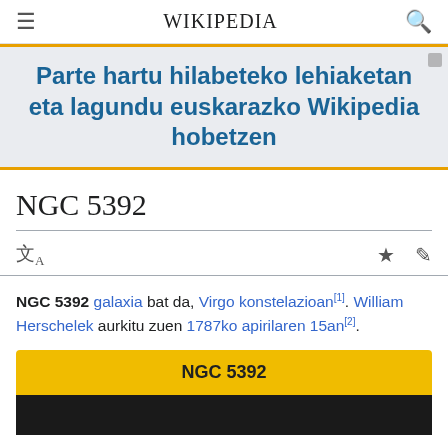≡ WIKIPEDIA 🔍
Parte hartu hilabeteko lehiaketan eta lagundu euskarazko Wikipedia hobetzen
NGC 5392
NGC 5392 galaxia bat da, Virgo konstelazioan[1]. William Herschelek aurkitu zuen 1787ko apirilaren 15an[2].
NGC 5392